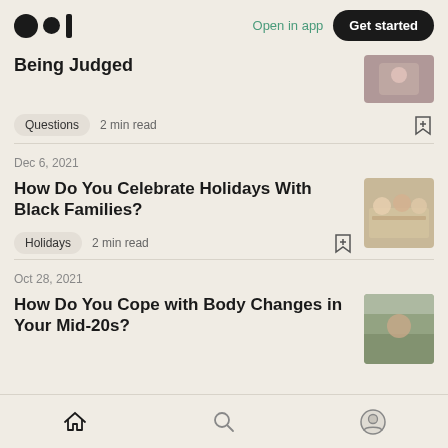Medium logo | Open in app | Get started
Being Judged
Questions · 2 min read
Dec 6, 2021
How Do You Celebrate Holidays With Black Families?
Holidays · 2 min read
Oct 28, 2021
How Do You Cope with Body Changes in Your Mid-20s?
Home | Search | Profile